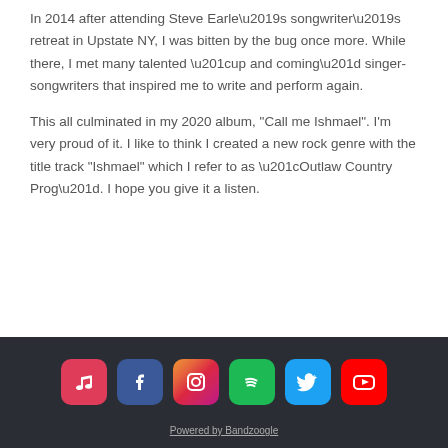In 2014 after attending Steve Earle’s songwriter’s retreat in Upstate NY, I was bitten by the bug once more. While there, I met many talented “up and coming” singer-songwriters that inspired me to write and perform again.
This all culminated in my 2020 album, "Call me Ishmael". I'm very proud of it. I like to think I created a new rock genre with the title track "Ishmael" which I refer to as “Outlaw Country Prog”. I hope you give it a listen.
[Figure (infographic): Social media icons row: Apple Music (red), Facebook (blue), Instagram (gradient), Spotify (green), Twitter (light blue), YouTube (red)]
Powered by Bandzoogle